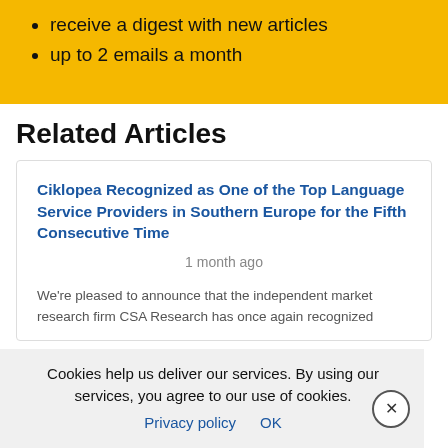receive a digest with new articles
up to 2 emails a month
Related Articles
Ciklopea Recognized as One of the Top Language Service Providers in Southern Europe for the Fifth Consecutive Time
1 month ago
We're pleased to announce that the independent market research firm CSA Research has once again recognized
Cookies help us deliver our services. By using our services, you agree to our use of cookies.
Privacy policy   OK